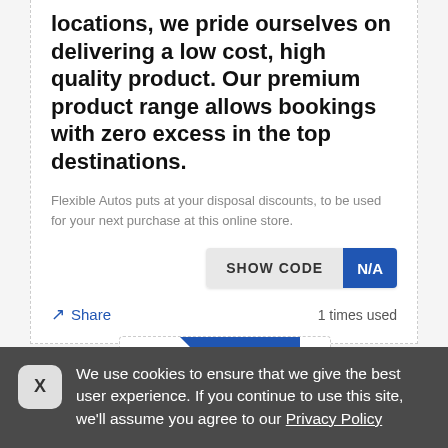locations, we pride ourselves on delivering a low cost, high quality product. Our premium product range allows bookings with zero excess in the top destinations.
Flexible Autos puts at your disposal discounts, to be used for your next purchase at this online store.
[Figure (other): A button showing SHOW CODE with a blue N/A tag on the right]
Share   1 times used
[Figure (other): Partially visible voucher card with a blue diagonal ribbon labeled Voucher]
We use cookies to ensure that we give the best user experience. If you continue to use this site, we'll assume you agree to our Privacy Policy